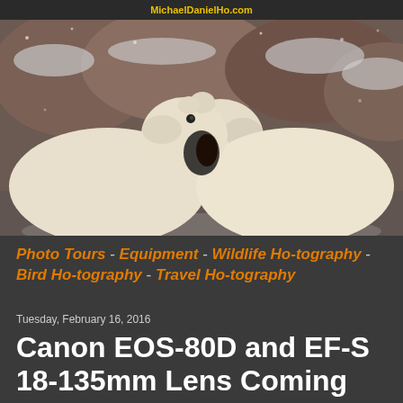MichaelDanielHo.com
[Figure (photo): Two polar bears facing each other with open mouths touching, in a snowy rocky landscape. Wildlife photography.]
Photo Tours - Equipment - Wildlife Ho-tography - Bird Ho-tography - Travel Ho-tography
Tuesday, February 16, 2016
Canon EOS-80D and EF-S 18-135mm Lens Coming Very Soon